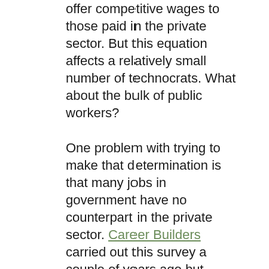offer competitive wages to those paid in the private sector. But this equation affects a relatively small number of technocrats. What about the bulk of public workers?

One problem with trying to make that determination is that many jobs in government have no counterpart in the private sector. Career Builders carried out this survey a couple of years ago but might